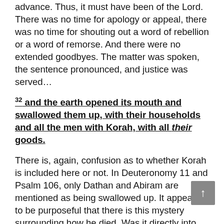advance. Thus, it must have been of the Lord. There was no time for apology or appeal, there was no time for shouting out a word of rebellion or a word of remorse. And there were no extended goodbyes. The matter was spoken, the sentence pronounced, and justice was served…
32 and the earth opened its mouth and swallowed them up, with their households and all the men with Korah, with all their goods.
There is, again, confusion as to whether Korah is included here or not. In Deuteronomy 11 and Psalm 106, only Dathan and Abiram are mentioned as being swallowed up. It appears to be purposeful that there is this mystery surrounding how he died. Was it directly into the pit, or was it by the fire which will be seen in a few verses?
It could be that the Lord left this ambiguous for a